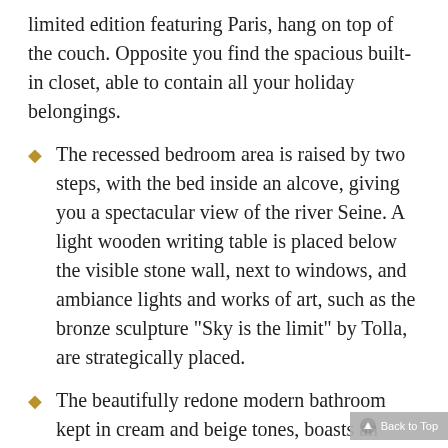limited edition featuring Paris, hang on top of the couch. Opposite you find the spacious built-in closet, able to contain all your holiday belongings.
The recessed bedroom area is raised by two steps, with the bed inside an alcove, giving you a spectacular view of the river Seine. A light wooden writing table is placed below the visible stone wall, next to windows, and ambiance lights and works of art, such as the bronze sculpture "Sky is the limit" by Tolla, are strategically placed.
The beautifully redone modern bathroom kept in cream and beige tones, boasts an exquisite original visible stone wall above the bathtub with italian shower by Philippe Stark